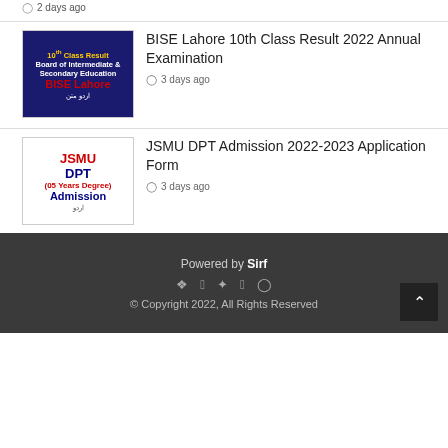2 days ago
[Figure (illustration): BISE Lahore 10th Class Result thumbnail showing Board of Intermediate and Secondary Education BISE Lahore text with red and dark blue background]
BISE Lahore 10th Class Result 2022 Annual Examination
3 days ago
[Figure (illustration): JSMU DPT (05 Years Degree) Admission thumbnail with red and blue text on white background]
JSMU DPT Admission 2022-2023 Application Form
3 days ago
Powered by Sirf
© Copyright 2022, All Rights Reserved